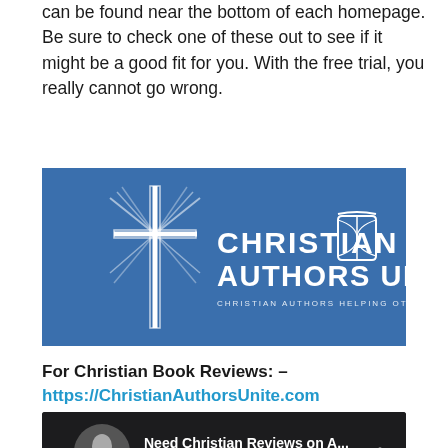can be found near the bottom of each homepage. Be sure to check one of these out to see if it might be a good fit for you. With the free trial, you really cannot go wrong.
[Figure (logo): Christian Authors Unite banner logo on blue background with a stylized cross and open book icon. Text reads: CHRISTIAN AUTHORS UNITE — Christian Authors Helping Other Christian Authors.]
For Christian Book Reviews: – https://ChristianAuthorsUnite.com
[Figure (screenshot): Video thumbnail showing a speaker at a podium with overlay text: Need Christian Reviews on A...]